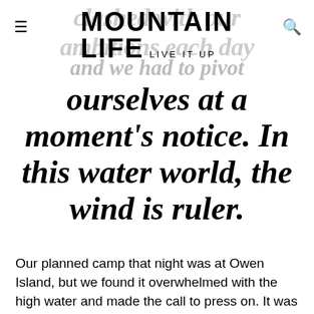Mountain Life — Live It Up
and we had to pivot ourselves at a moment's notice. In this water world, the wind is ruler.
Our planned camp that night was at Owen Island, but we found it overwhelmed with the high water and made the call to press on. It was on that stretch of coast that the eagle appeared. This impressive bird guided us for the remainder of that day. We laboured over waves until finding calm